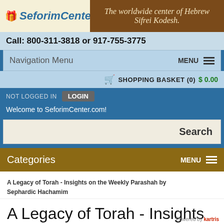[Figure (logo): SeforimCenter.com logo with icon and tagline 'The worldwide center of Hebrew Sifrei Kodesh']
Call: 800-311-3818 or 917-755-3775
Navigation Menu   MENU ≡
🛒 SHOPPING BASKET (0)  $ 0.00
NOT LOGGED IN  LOGIN
Welcome to SeforimCenter.com!
Search
Categories   MENU ≡
A Legacy of Torah - Insights on the Weekly Parashah by Sephardic Hachamim
A Legacy of Torah - Insights on the Weekly Parashah by Sephardic
Powered by kartris